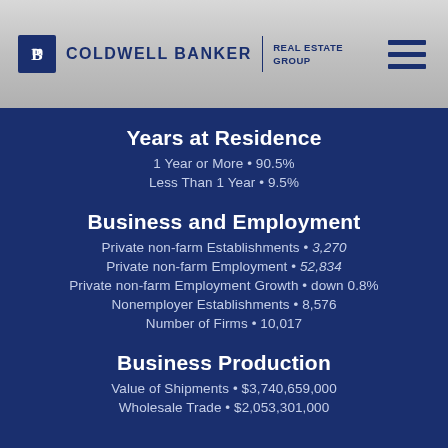COLDWELL BANKER REAL ESTATE GROUP
Years at Residence
1 Year or More • 90.5%
Less Than 1 Year • 9.5%
Business and Employment
Private non-farm Establishments • 3,270
Private non-farm Employment • 52,834
Private non-farm Employment Growth • down 0.8%
Nonemployer Establishments • 8,576
Number of Firms • 10,017
Business Production
Value of Shipments • $3,740,659,000
Wholesale Trade • $2,053,301,000